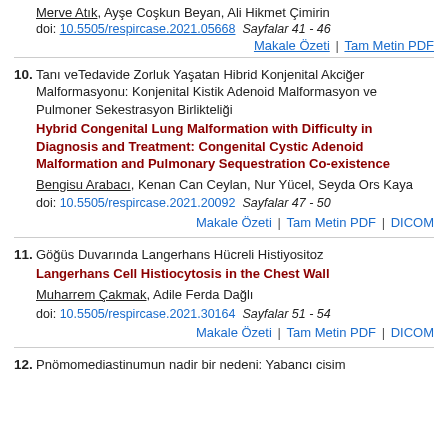Merve Atik, Ayşe Coşkun Beyan, Ali Hikmet Çiminim
doi: 10.5505/respircase.2021.05668  Sayfalar 41 - 46
Makale Özeti | Tam Metin PDF
10. Tanı veTedavide Zorluk Yaşatan Hibrid Konjenital Akciğer Malformasyonu: Konjenital Kistik Adenoid Malformasyon ve Pulmoner Sekestrasyon Birlikteliği
Hybrid Congenital Lung Malformation with Difficulty in Diagnosis and Treatment: Congenital Cystic Adenoid Malformation and Pulmonary Sequestration Co-existence
Bengisu Arabacı, Kenan Can Ceylan, Nur Yücel, Seyda Ors Kaya
doi: 10.5505/respircase.2021.20092  Sayfalar 47 - 50
Makale Özeti | Tam Metin PDF | DICOM
11. Göğüs Duvarında Langerhans Hücreli Histiyositoz
Langerhans Cell Histiocytosis in the Chest Wall
Muharrem Çakmak, Adile Ferda Dağlı
doi: 10.5505/respircase.2021.30164  Sayfalar 51 - 54
Makale Özeti | Tam Metin PDF | DICOM
12. Pnömomediastinumun nadir bir nedeni: Yabancı cisim